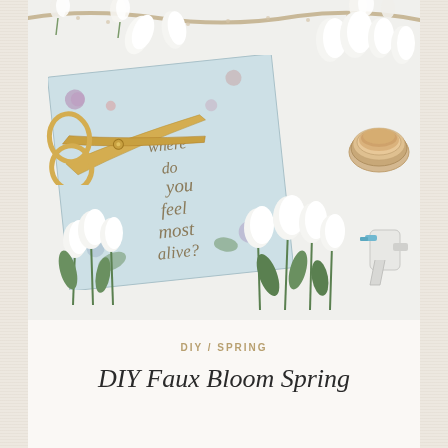[Figure (photo): Flat lay photo of craft supplies including gold scissors, a floral-illustrated journal/card with text 'where do you feel most alive?', white tulips, a ribbon spool, a glue gun, and a dotted ribbon, arranged on a white surface]
DIY / SPRING
DIY Faux Bloom Spring